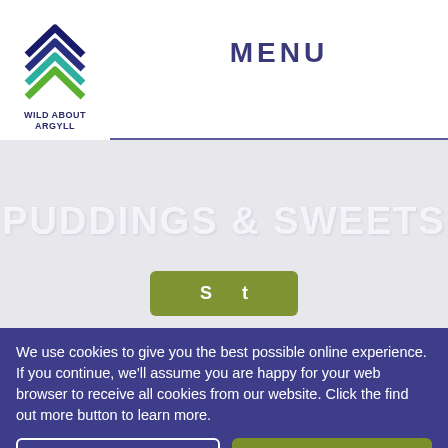[Figure (logo): Wild About Argyll logo with chevron/arrow design in green, blue, and teal colors, with text 'WILD ABOUT ARGYLL' below]
MENU
PUDDINGS & SWEETS
We use cookies to give you the best possible online experience. If you continue, we'll assume you are happy for your web browser to receive all cookies from our website. Click the find out more button to learn more.
Find out more
Close & Accept